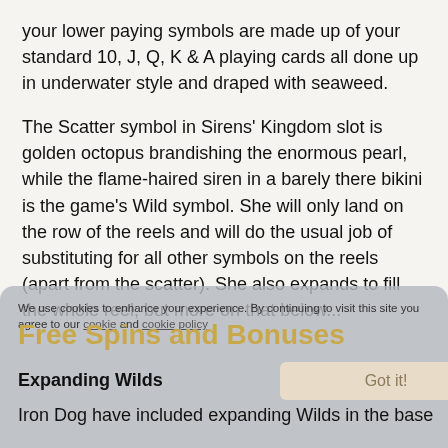your lower paying symbols are made up of your standard 10, J, Q, K & A playing cards all done up in underwater style and draped with seaweed.
The Scatter symbol in Sirens' Kingdom slot is golden octopus brandishing the enormous pearl, while the flame-haired siren in a barely there bikini is the game's Wild symbol. She will only land on the row of the reels and will do the usual job of substituting for all other symbols on the reels (apart from the scatter). She also expands to fill the whole reel, but more on that below...
We use cookies to enhance your experience. By continuing to visit this site you agree to our cookie and cookie policy
Free Spins and Bonuses
Expanding Wilds
Iron Dog have included expanding Wilds in the base